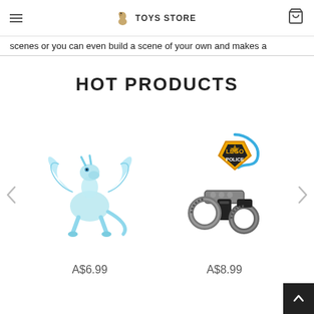TOYS STORE
scenes or you can even build a scene of your own and makes a
HOT PRODUCTS
[Figure (photo): White/blue dragon toy figurine with spread wings]
A$6.99
[Figure (photo): LEGO City police badge on lanyard and toy handcuffs set]
A$8.99